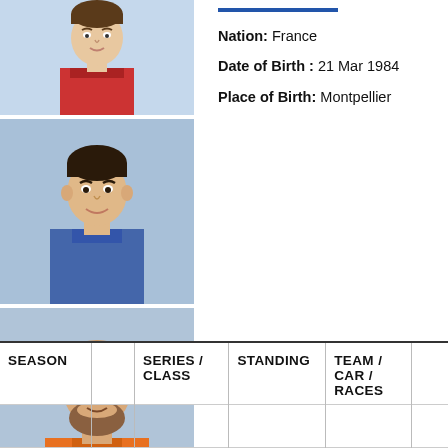[Figure (photo): Racing driver headshot photo 1 - partial view, driver in red suit]
[Figure (photo): Racing driver headshot photo 2 - driver smiling, blue background]
[Figure (photo): Racing driver headshot photo 3 - bearded driver in orange suit, blue background]
Copyright Photos: © IndyCar Series, ADAC Motorsport
Nation: France
Date of Birth : 21 Mar 1984
Place of Birth: Montpellier
| SEASON |  | SERIES / CLASS | STANDING | TEAM / CAR / RACES |  |
| --- | --- | --- | --- | --- | --- |